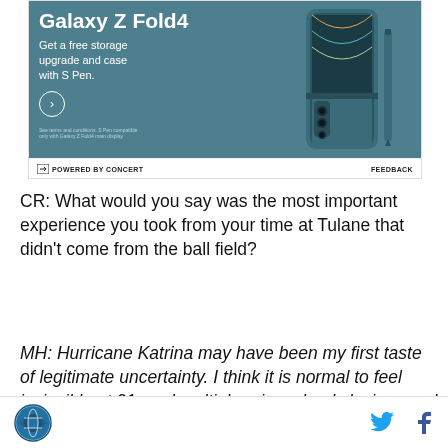[Figure (photo): Samsung Galaxy Z Fold4 advertisement showing phone with S Pen, text 'Get a free storage upgrade and case with S Pen.' with a circle arrow button and fine print. Powered by Concert footer with Feedback link.]
CR: What would you say was the most important experience you took from your time at Tulane that didn't come from the ball field?
MH: Hurricane Katrina may have been my first taste of legitimate uncertainty. I think it is normal to feel invincible at 21, and multiple prior school closings and evacuations that yielded no damage made us feel very
POWERED BY CONCERT   FEEDBACK